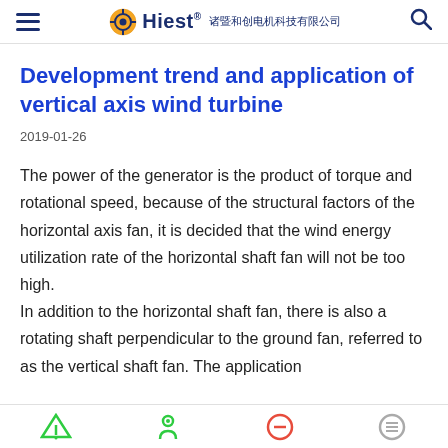≡  Hiest® 诸暨和创电机科技有限公司  🔍
Development trend and application of vertical axis wind turbine
2019-01-26
The power of the generator is the product of torque and rotational speed, because of the structural factors of the horizontal axis fan, it is decided that the wind energy utilization rate of the horizontal shaft fan will not be too high.
In addition to the horizontal shaft fan, there is also a rotating shaft perpendicular to the ground fan, referred to as the vertical shaft fan. The application
Navigation footer icons